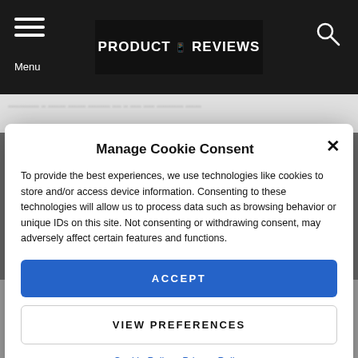PRODUCT REVIEWS — Menu
Manage Cookie Consent
To provide the best experiences, we use technologies like cookies to store and/or access device information. Consenting to these technologies will allow us to process data such as browsing behavior or unique IDs on this site. Not consenting or withdrawing consent, may adversely affect certain features and functions.
ACCEPT
VIEW PREFERENCES
Cookie Policy  Privacy Policy
tide of subscribers leaving the company.
The deal with Sprint will further break the once